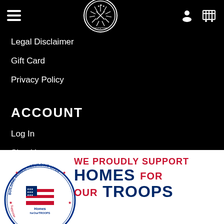[Figure (logo): Carrying Knives circular logo in white on black header bar]
Legal Disclaimer
Gift Card
Privacy Policy
ACCOUNT
Log In
Sign Up
[Figure (logo): Homes for Our Troops circular badge and banner: WE PROUDLY SUPPORT HOMES FOR OUR TROOPS]